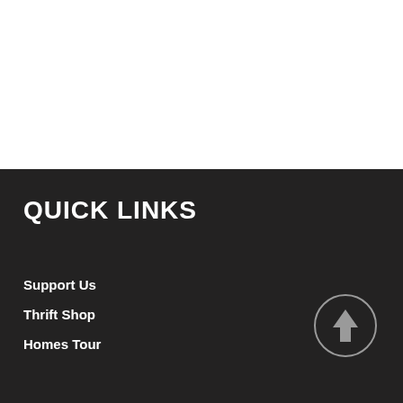QUICK LINKS
Support Us
Thrift Shop
Homes Tour
[Figure (illustration): Circle with upward-pointing arrow icon (back to top button)]